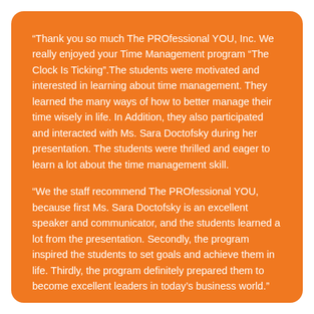“Thank you so much The PROfessional YOU, Inc. We really enjoyed your Time Management program “The Clock Is Ticking”.The students were motivated and interested in learning about time management. They learned the many ways of how to better manage their time wisely in life. In Addition, they also participated and interacted with Ms. Sara Doctofsky during her presentation. The students were thrilled and eager to learn a lot about the time management skill.
“We the staff recommend The PROfessional YOU, because first Ms. Sara Doctofsky is an excellent speaker and communicator, and the students learned a lot from the presentation. Secondly, the program inspired the students to set goals and achieve them in life. Thirdly, the program definitely prepared them to become excellent leaders in today’s business world.”
– City of Deerfield Beach, FL